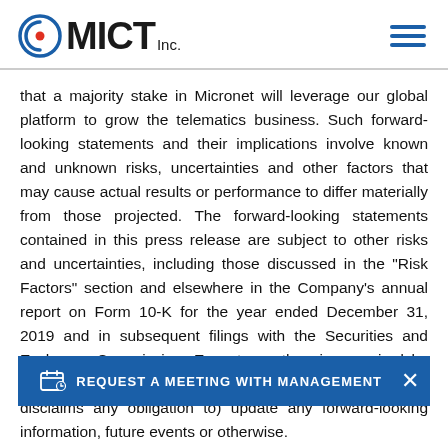MICT Inc.
that a majority stake in Micronet will leverage our global platform to grow the telematics business. Such forward-looking statements and their implications involve known and unknown risks, uncertainties and other factors that may cause actual results or performance to differ materially from those projected. The forward-looking statements contained in this press release are subject to other risks and uncertainties, including those discussed in the "Risk Factors" section and elsewhere in the Company's annual report on Form 10-K for the year ended December 31, 2019 and in subsequent filings with the Securities and Exchange Commission. Except as otherwise required by law, the Company is under no obligation to (and expressly disclaims any obligation to) update any forward-looking information, future events or otherwise.
[Figure (other): REQUEST A MEETING WITH MANAGEMENT call-to-action banner overlay with close button]